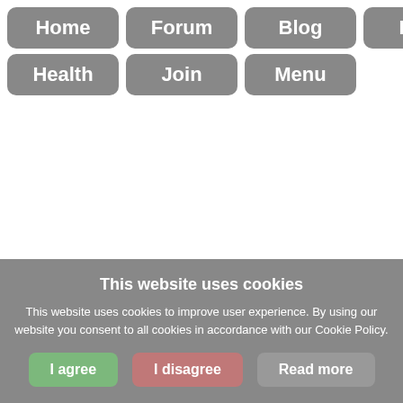Home
Forum
Blog
FAQ
Health
Join
Menu
This website uses cookies
This website uses cookies to improve user experience. By using our website you consent to all cookies in accordance with our Cookie Policy.
I agree | I disagree | Read more